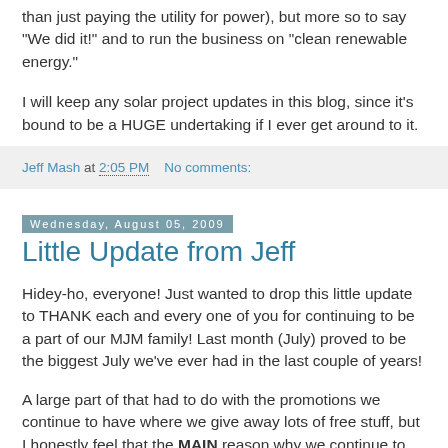than just paying the utility for power), but more so to say "We did it!" and to run the business on "clean renewable energy."
I will keep any solar project updates in this blog, since it's bound to be a HUGE undertaking if I ever get around to it.
Jeff Mash at 2:05 PM    No comments:
Wednesday, August 05, 2009
Little Update from Jeff
Hidey-ho, everyone! Just wanted to drop this little update to THANK each and every one of you for continuing to be a part of our MJM family! Last month (July) proved to be the biggest July we've ever had in the last couple of years!
A large part of that had to do with the promotions we continue to have where we give away lots of free stuff, but I honestly feel that the MAIN reason why we continue to grow is because of YOU. Word of mouth and positive testimonials